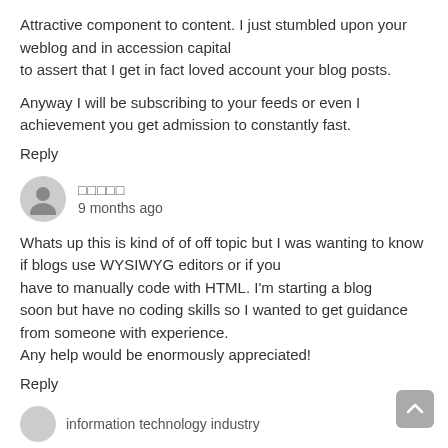Attractive component to content. I just stumbled upon your weblog and in accession capital to assert that I get in fact loved account your blog posts.
Anyway I will be subscribing to your feeds or even I achievement you get admission to constantly fast.
Reply
□□□□□
9 months ago
Whats up this is kind of of off topic but I was wanting to know if blogs use WYSIWYG editors or if you have to manually code with HTML. I'm starting a blog soon but have no coding skills so I wanted to get guidance from someone with experience.
Any help would be enormously appreciated!
Reply
information technology industry